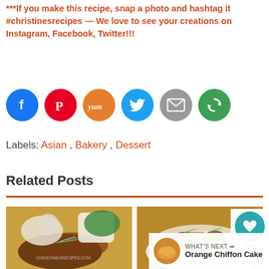***If you make this recipe, snap a photo and hashtag it #christinesrecipes — We love to see your creations on Instagram, Facebook, Twitter!!!
[Figure (infographic): Six social media share buttons: Facebook (blue circle with F), Pinterest (red circle with P), Yummly (orange circle with Yum), Twitter (light blue circle with bird), Email (grey circle with envelope), and a green circle with a share/refresh icon.]
Labels: Asian , Bakery , Dessert
Related Posts
[Figure (photo): Photo of glazed meat dish garnished with green onions on a white plate, with a white jug and bowl of greens in background on a yellow surface.]
[Figure (photo): Photo of braised chicken wings with potatoes in a brown sauce garnished with green onions in a white bowl.]
87
WHAT'S NEXT → Orange Chiffon Cake